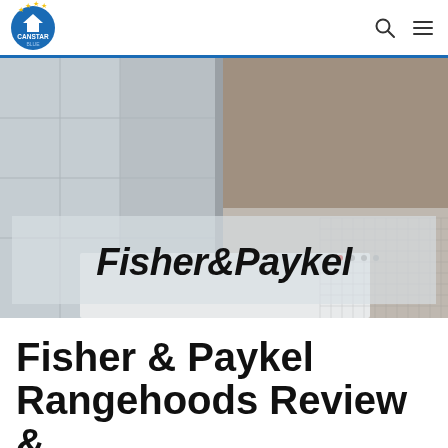Canstar Blue
[Figure (photo): Hero image showing a kitchen rangehood/appliance area with tiled wall background, overlaid with a semi-transparent panel displaying the Fisher & Paykel brand logo in large italic bold text.]
Fisher & Paykel Rangehoods Review &